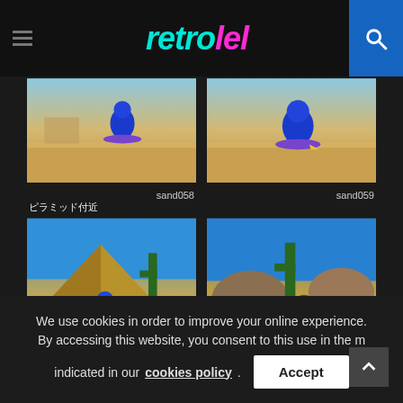retrolel
[Figure (screenshot): Sonic the Hedgehog game screenshot - sand level, Sonic on hoverboard in desert, label: sand058]
[Figure (screenshot): Sonic the Hedgehog game screenshot - sand level, Sonic on hoverboard in desert, label: sand059]
ピラミッド付近
[Figure (screenshot): Sonic the Hedgehog game screenshot - pyramid area, Sonic on hoverboard with cactus and pyramid, label: sand060]
[Figure (screenshot): Sonic the Hedgehog game screenshot - desert area with cactus and boulders, label: sand065]
We use cookies in order to improve your online experience. By accessing this website, you consent to this use in the manner indicated in our cookies policy.